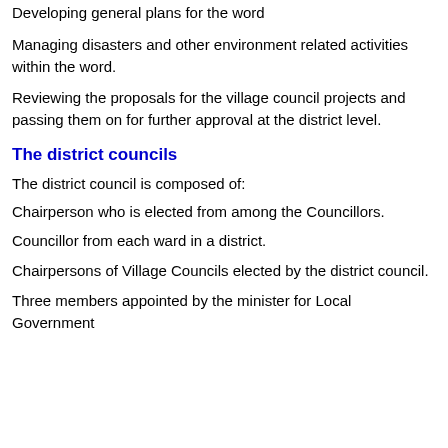Developing general plans for the word
Managing disasters and other environment related activities within the word.
Reviewing the proposals for the village council projects and passing them on for further approval at the district level.
The district councils
The district council is composed of:
Chairperson who is elected from among the Councillors.
Councillor from each ward in a district.
Chairpersons of Village Councils elected by the district council.
Three members appointed by the minister for Local Government